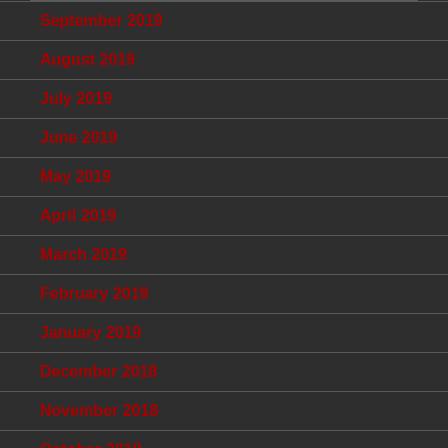September 2019
August 2019
July 2019
June 2019
May 2019
April 2019
March 2019
February 2019
January 2019
December 2018
November 2018
October 2018
September 2018